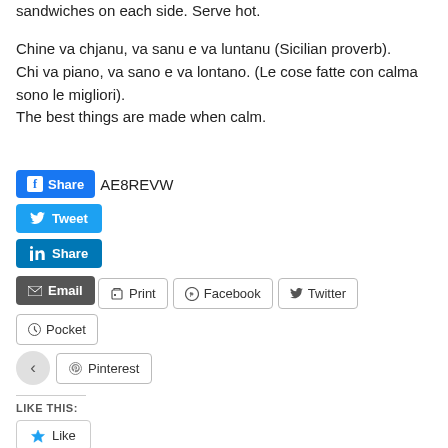sandwiches on each side. Serve hot.
Chine va chjanu, va sanu e va luntanu (Sicilian proverb).
Chi va piano, va sano e va lontano. (Le cose fatte con calma sono le migliori).
The best things are made when calm.
[Figure (screenshot): Social share buttons: Facebook Share with code AE8REVW, Tweet, LinkedIn Share, Email, Print, Facebook, Twitter, Pocket, Pinterest buttons. Back arrow icon. Like widget.]